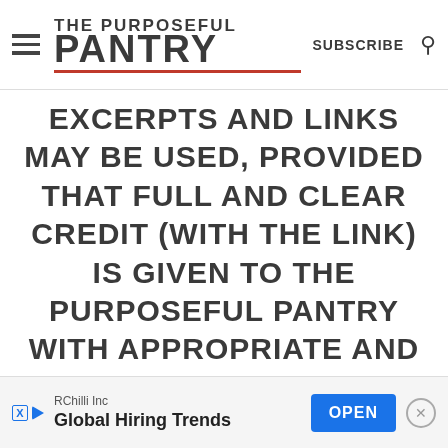THE PURPOSEFUL PANTRY | SUBSCRIBE
EXCERPTS AND LINKS MAY BE USED, PROVIDED THAT FULL AND CLEAR CREDIT (WITH THE LINK) IS GIVEN TO THE PURPOSEFUL PANTRY WITH APPROPRIATE AND SPECIFIC DIRECTION TO THE ORIGINAL CONTENT.
AN ELITE CAFEMEDIA FOOD PUBLISHER
[Figure (other): Advertisement banner: RChilli Inc - Global Hiring Trends - OPEN button]